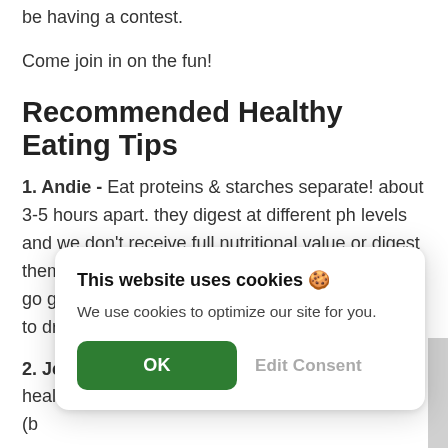be having a contest.
Come join in on the fun!
Recommended Healthy Eating Tips
1. Andie - Eat proteins & starches separate! about 3-5 hours apart. they digest at different ph levels and we don't receive full nutritional value or digest them all the way when eaten together. vegetables go great with both tho! and it's always a good idea to drink LOTS of water!!
2. Jeri - The best thing I've ever done for my health (b... [partially obscured by cookie dialog]
[Figure (screenshot): Cookie consent dialog overlay: 'This website uses cookies' with OK button and Edit Consent option]
3. Terry - Drink lots and lots of water... it helps cle[obscured]